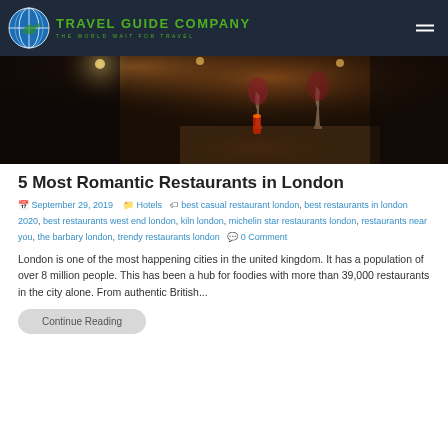Travel Guide Company — The World Wait For Travel
[Figure (photo): Dark romantic restaurant interior with wine glasses and candle on table]
5 Most Romantic Restaurants in London
September 29, 2019  Hotels  best casual restaurant london, best restaurants in london 2020, best restaurants west end london, kiln london, michelin star restaurants london, restaurants near you, the barbary london, trendy restaurants london  0 Comment
London is one of the most happening cities in the united kingdom. It has a population of over 8 million people. This has been a hub for foodies with more than 39,000 restaurants in the city alone. From authentic British...
Continue Reading